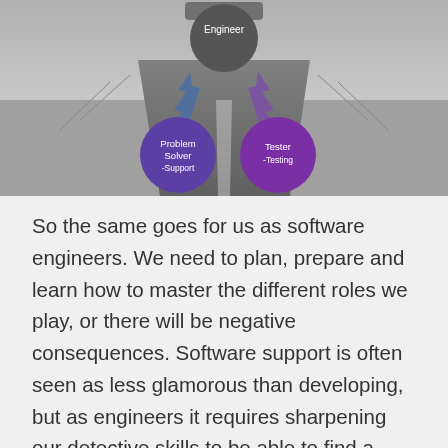[Figure (infographic): Road background image with overlaid circles showing roles: Engineer (dark gray, top center), Problem Solver -Support (purple, bottom left), Tester -Testing (purple, bottom right), with blue and purple arrows connecting them.]
So the same goes for us as software engineers. We need to plan, prepare and learn how to master the different roles we play, or there will be negative consequences. Software support is often seen as less glamorous than developing, but as engineers it requires sharpening our detective skills to be able to find a metaphorical needle in a haystack. This requires a completely different set of skills to development. So in order to take ourselves